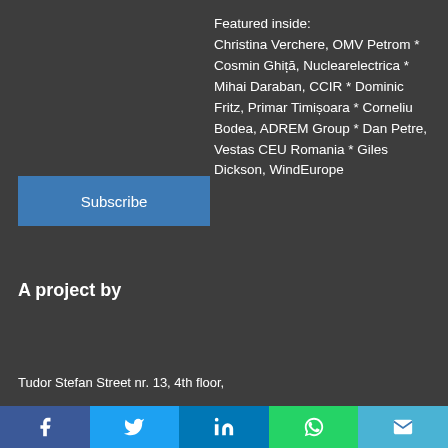Featured inside:
Christina Verchere, OMV Petrom * Cosmin Ghiță, Nuclearelectrica * Mihai Daraban, CCIR * Dominic Fritz, Primar Timișoara * Corneliu Bodea, ADREM Group * Dan Petre, Vestas CEU Romania * Giles Dickson, WindEurope
Subscribe
A project by
Tudor Stefan Street nr. 13, 4th floor,
f  (Twitter bird)  in  (WhatsApp)  (Email)